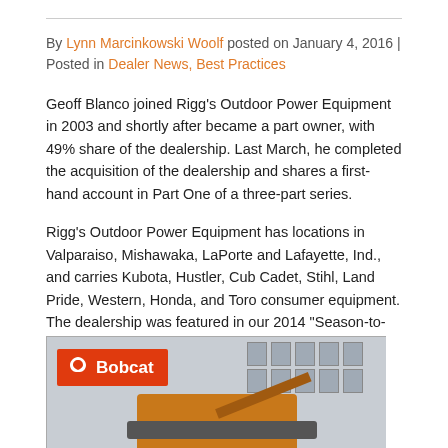By Lynn Marcinkowski Woolf posted on January 4, 2016 | Posted in Dealer News, Best Practices
Geoff Blanco joined Rigg's Outdoor Power Equipment in 2003 and shortly after became a part owner, with 49% share of the dealership. Last March, he completed the acquisition of the dealership and shares a first-hand account in Part One of a three-part series.
Rigg's Outdoor Power Equipment has locations in Valparaiso, Mishawaka, LaPorte and Lafayette, Ind., and carries Kubota, Hustler, Cub Cadet, Stihl, Land Pride, Western, Honda, and Toro consumer equipment. The dealership was featured in our 2014 "Season-to-Season" series and Blanco serves on Rural Lifestyle Dealer's editorial advisory board.
[Figure (photo): Photo of a Bobcat excavator/loader machine at a construction site with a building in the background. The Bobcat logo badge is visible in the upper left of the image.]